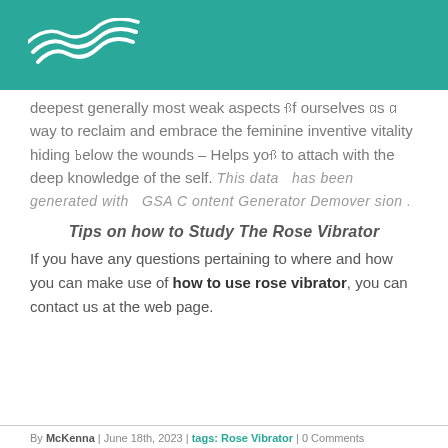[Figure (logo): Teal header bar with white wave/swirl logo in upper left]
deepest generally most weak aspects of ourselves as a way to reclaim and embrace the feminine inventive vitality hiding below the wounds – Helps you to attach with the deep knowledge of the self. This data  has been  generated with  GSA Content Generator Demoversion.
Tips on how to Study The Rose Vibrator
If you have any questions pertaining to where and how you can make use of how to use rose vibrator, you can contact us at the web page.
By McKenna | June 18th, 2023 | tags: Rose Vibrator | 0 Comments